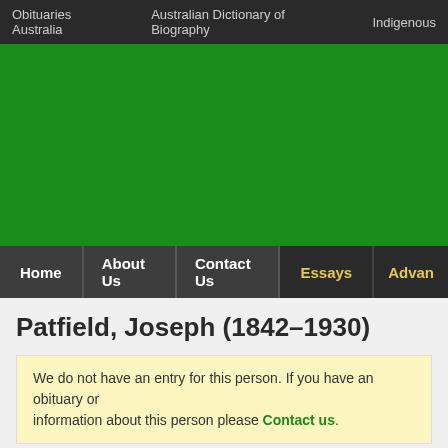Obituaries Australia | Australian Dictionary of Biography | Indigenous
[Figure (other): Green banner/header image for Obituaries Australia website]
Home | About Us | Contact Us | Essays | Advan
Patfield, Joseph (1842–1930)
We do not have an entry for this person. If you have an obituary or information about this person please Contact us.
Additional Resources